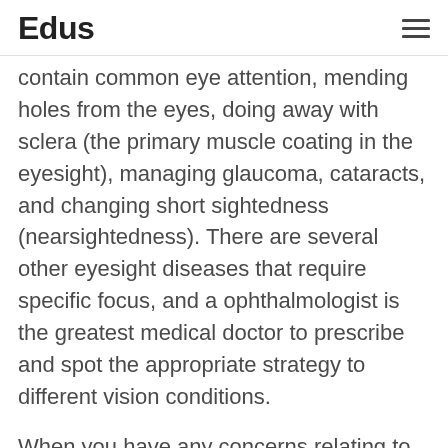Edus
contain common eye attention, mending holes from the eyes, doing away with sclera (the primary muscle coating in the eyesight), managing glaucoma, cataracts, and changing short sightedness (nearsightedness). There are several other eyesight diseases that require specific focus, and a ophthalmologist is the greatest medical doctor to prescribe and spot the appropriate strategy to different vision conditions.
When you have any concerns relating to wherever and how to utilize related, you'll be able to email us at our internet site.
Fantastic ideas connected with the issues in this post, you can like: